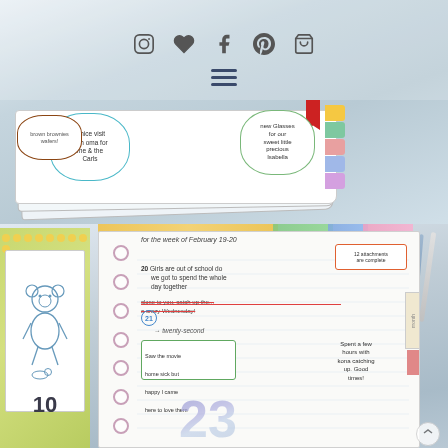[Figure (photo): Top half: Website/blog navigation bar with social media icons (Instagram, heart/Bloglovin, Facebook, Pinterest, shopping cart) and hamburger menu, overlaid on a photo of handmade journaling/memory keeping notebooks with speech bubble entries showing handwritten notes. Colorful tabbed pages visible on the right edge.]
[Figure (photo): Bottom half: Close-up photo of an open spiral/ring-bound planner notebook with handwritten entries for the week of February 19-20. Shows dates 20, 21, 22, 23 with colorful handwritten notes in marker and pen. A bear illustration is visible on a yellow/green notebook cover on the left. Colorful washi tape and tabs visible.]